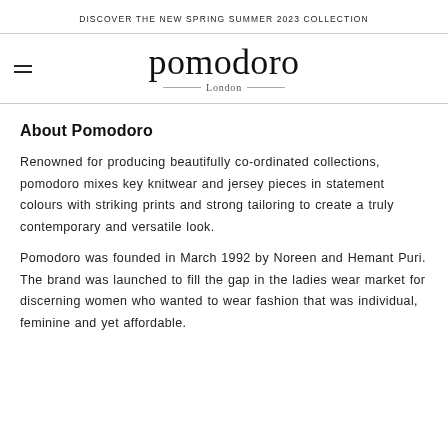DISCOVER THE NEW SPRING SUMMER 2023 COLLECTION
[Figure (logo): Pomodoro London logo with hamburger menu icon on the left]
About Pomodoro
Renowned for producing beautifully co-ordinated collections, pomodoro mixes key knitwear and jersey pieces in statement colours with striking prints and strong tailoring to create a truly contemporary and versatile look.
Pomodoro was founded in March 1992 by Noreen and Hemant Puri. The brand was launched to fill the gap in the ladies wear market for discerning women who wanted to wear fashion that was individual, feminine and yet affordable.